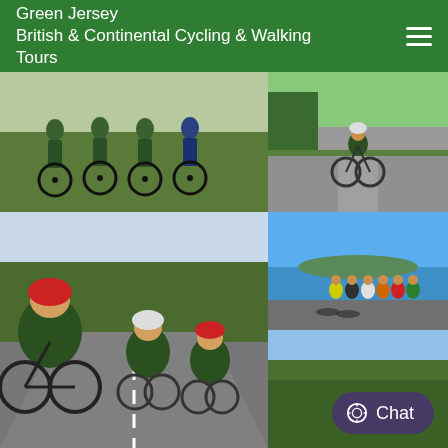Green Jersey
British & Continental Cycling & Walking Tours
[Figure (photo): Group of cyclists in green jerseys standing with their bikes on grass]
[Figure (photo): Solo cyclist riding on a tree-lined country road]
[Figure (photo): Three cyclists riding on a road, two wearing green jerseys and helmets]
[Figure (photo): Group of cyclists standing by their bikes near a waterfront on a sunny day]
[Figure (photo): Partial view of a wooded landscape with a chat button overlay]